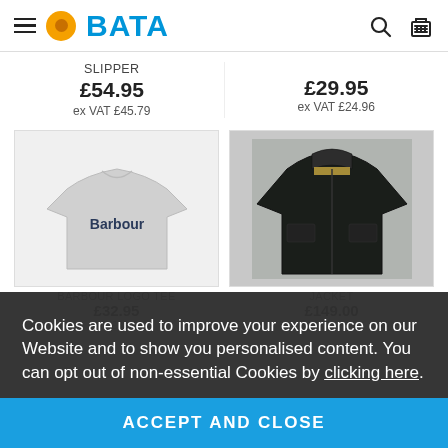[Figure (screenshot): Bata website header with hamburger menu, orange logo circle, BATA text logo, search icon, and basket icon]
SLIPPER
£54.95
ex VAT £45.79
£29.95
ex VAT £24.96
[Figure (photo): Grey Barbour logo t-shirt on white background]
[Figure (photo): Dark navy/black Barbour jacket on grey background]
Cookies are used to improve your experience on our Website and to show you personalised content. You can opt out of non-essential Cookies by clicking here.
BARBOUR LOGO TEE
£32.95
JACKET
£149.00
ACCEPT AND CLOSE